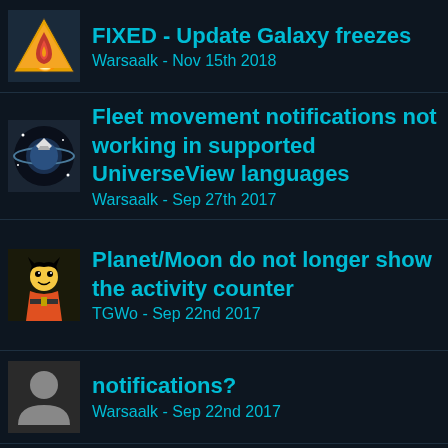FIXED - Update Galaxy freezes
Warsaalk - Nov 15th 2018
Fleet movement notifications not working in supported UniverseView languages
Warsaalk - Sep 27th 2017
Planet/Moon do not longer show the activity counter
TGWo - Sep 22nd 2017
notifications?
Warsaalk - Sep 22nd 2017
UniverseView "Click on Coordinates error"
Trubless - Oct 24th 2016
AGO Spy table and Minimized Spy Reports
Warsaalk - Apr 13th 2016
Planet fields crash on certain accounts
Warsaalk - Oct 30th 2015
2.0.1: options not change value (Chrome)